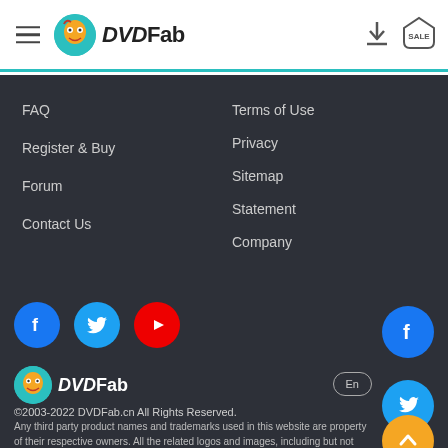[Figure (logo): DVDFab website header with hamburger menu, DVDFab logo, download icon and SALE icon]
FAQ
Register & Buy
Forum
Contact Us
Terms of Use
Privacy
Sitemap
Statement
Company
[Figure (logo): Social media icons: Facebook (blue), Twitter (blue), YouTube (red) circles, and a Facebook circle on the right]
[Figure (logo): DVDFab logo at bottom left]
©2003-2022 DVDFab.cn All Rights Reserved.
Any third party product names and trademarks used in this website are property of their respective owners. All the related logos and images, including but not limited to YouTube, Amazon, Netflix, Hulu, Disney+, HBO, Paramount+, ESPN+, Discovery+ are registered trademarks of their own. DVDFab is not